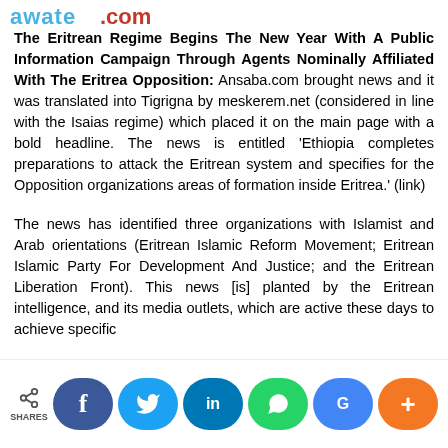Awate.com
The Eritrean Regime Begins The New Year With A Public Information Campaign Through Agents Nominally Affiliated With The Eritrea Opposition: Ansaba.com brought news and it was translated into Tigrigna by meskerem.net (considered in line with the Isaias regime) which placed it on the main page with a bold headline. The news is entitled ‘Ethiopia completes preparations to attack the Eritrean system and specifies for the Opposition organizations areas of formation inside Eritrea.’ (link)
The news has identified three organizations with Islamist and Arab orientations (Eritrean Islamic Reform Movement; Eritrean Islamic Party For Development And Justice; and the Eritrean Liberation Front). This news [is] planted by the Eritrean intelligence, and its media outlets, which are active these days to achieve specific
SHARES | Facebook | Twitter | LinkedIn | WhatsApp | Google+ | More